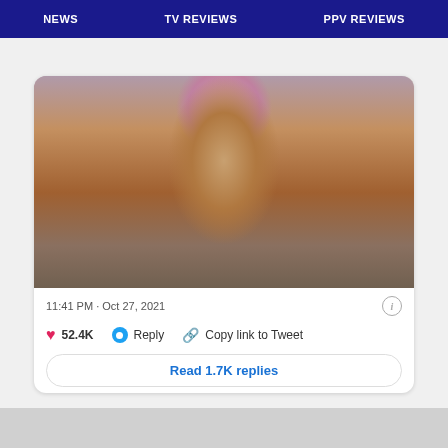NEWS    TV REVIEWS    PPV REVIEWS
[Figure (photo): Person in bikini posing in a bathroom/room setting]
11:41 PM · Oct 27, 2021
52.4K   Reply   Copy link to Tweet
Read 1.7K replies